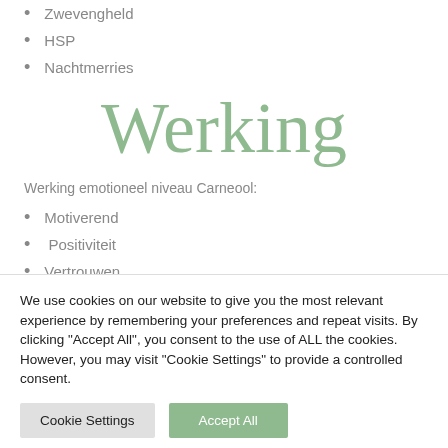Zwevengheld
HSP
Nachtmerries
Werking
Werking emotioneel niveau Carneool:
Motiverend
Positiviteit
Vertrouwen
We use cookies on our website to give you the most relevant experience by remembering your preferences and repeat visits. By clicking "Accept All", you consent to the use of ALL the cookies. However, you may visit "Cookie Settings" to provide a controlled consent.